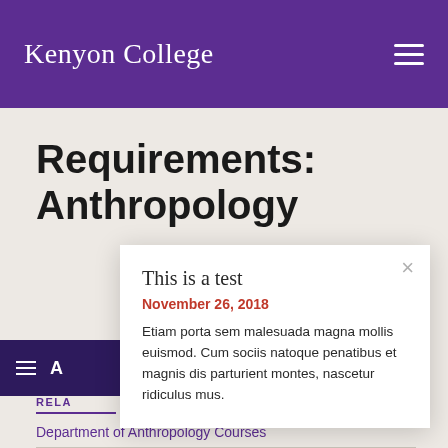Kenyon College
Requirements:
Anthropology
This is a test
November 26, 2018
Etiam porta sem malesuada magna mollis euismod. Cum sociis natoque penatibus et magnis dis parturient montes, nascetur ridiculus mus.
RELA
Department of Anthropology Courses
Department of Anthropology Website